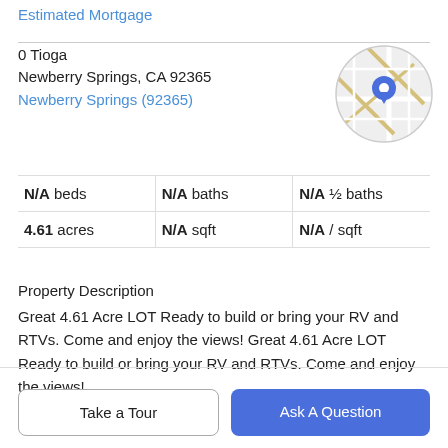Estimated Mortgage
0 Tioga
Newberry Springs, CA 92365
Newberry Springs (92365)
[Figure (map): Circular map thumbnail showing street map with blue location pin for Newberry Springs, CA]
| N/A beds | N/A baths | N/A ½ baths |
| 4.61 acres | N/A sqft | N/A / sqft |
Property Description
Great 4.61 Acre LOT Ready to build or bring your RV and RTVs. Come and enjoy the views! Great 4.61 Acre LOT Ready to build or bring your RV and RTVs. Come and enjoy the views!
Take a Tour
Ask A Question